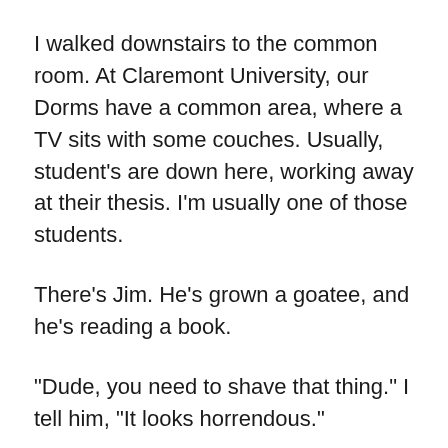I walked downstairs to the common room. At Claremont University, our Dorms have a common area, where a TV sits with some couches. Usually, student's are down here, working away at their thesis. I'm usually one of those students.
There's Jim. He's grown a goatee, and he's reading a book.
“Dude, you need to shave that thing.” I tell him, “It looks horrendous.”
“I am a scholar, Noah. Scholars need beards.”
“You look like a villain. And scholars need tweed jackets, dingus.”
“Dude? When’s the last time you’ve seen a tweed jacket,